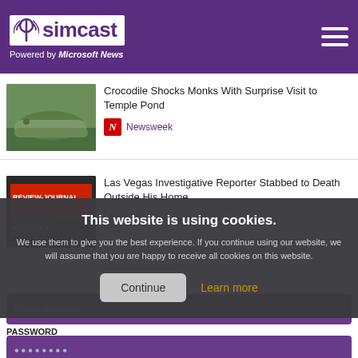[Figure (logo): Simcast logo with antenna icon, purple background, 'Powered by Microsoft News' tagline, hamburger menu icon]
Crocodile Shocks Monks With Surprise Visit to Temple Pond
Newsweek
Las Vegas Investigative Reporter Stabbed to Death Outside His Home
The Daily Beast
This website is using cookies.
We use them to give you the best experience. If you continue using our website, we will assume that you are happy to receive all cookies on this website.
Continue
Learn more
Email Address
PASSWORD
••••••••